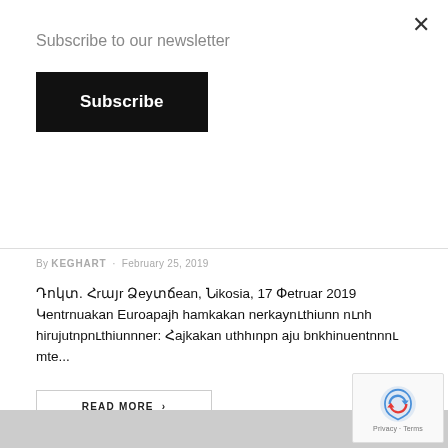Subscribe to our newsletter
Subscribe
By KEGHART · February 25, 2019
Դոկտ. Հրայր Ձեյտճեան, Նիկoսիա, 17 Փետրուար 2019 Կեnnnnuական Եuրnuuajh համկական ներկայnւthիnne nւnh hurujutnpnւthiunner: Հayկaկau uthhınpn aju bnthinuentnնু մt2...
READ MORE  ›